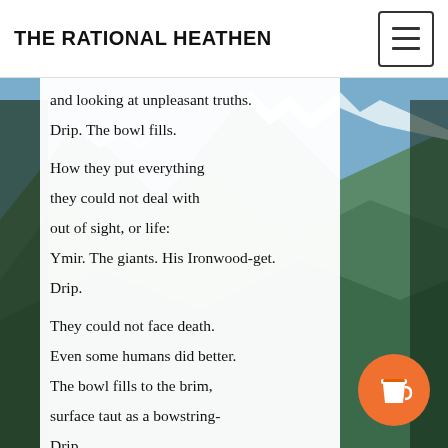THE RATIONAL HEATHEN
and looking at unpleasant truths.
Drip. The bowl fills.

How they put everything
they could not deal with
out of sight, or life:
Ymir. The giants. His Ironwood-get.
Drip.

They could not face death.
Even some humans did better.
The bowl fills to the brim,
surface taut as a bowstring-
Drip.
Poison flows